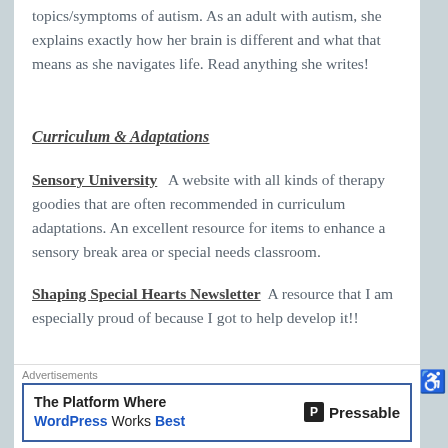topics/symptoms of autism. As an adult with autism, she explains exactly how her brain is different and what that means as she navigates life. Read anything she writes!
Curriculum & Adaptations
Sensory University   A website with all kinds of therapy goodies that are often recommended in curriculum adaptations. An excellent resource for items to enhance a sensory break area or special needs classroom.
Shaping Special Hearts Newsletter   A resource that I am especially proud of because I got to help develop it!!
Advertisements
[Figure (other): Advertisement banner: 'The Platform Where WordPress Works Best' by Pressable]